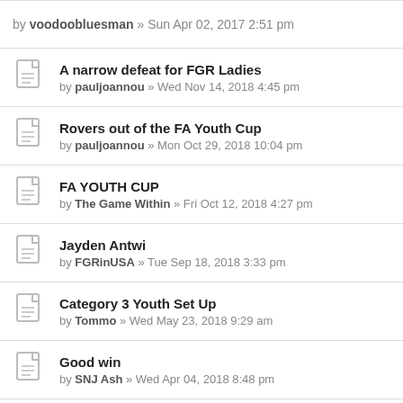by voodoobluesman » Sun Apr 02, 2017 2:51 pm
A narrow defeat for FGR Ladies
by pauljoannou » Wed Nov 14, 2018 4:45 pm
Rovers out of the FA Youth Cup
by pauljoannou » Mon Oct 29, 2018 10:04 pm
FA YOUTH CUP
by The Game Within » Fri Oct 12, 2018 4:27 pm
Jayden Antwi
by FGRinUSA » Tue Sep 18, 2018 3:33 pm
Category 3 Youth Set Up
by Tommo » Wed May 23, 2018 9:29 am
Good win
by SNJ Ash » Wed Apr 04, 2018 8:48 pm
FGR U18 v Plymouth (Saturday 24th February)
by T50 ROS » Tue Feb 20, 2018 10:37 am